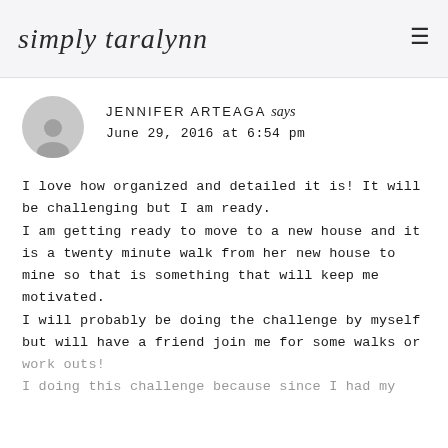simply taralynn
JENNIFER ARTEAGA says
June 29, 2016 at 6:54 pm
I love how organized and detailed it is! It will be challenging but I am ready.
I am getting ready to move to a new house and it is a twenty minute walk from her new house to mine so that is something that will keep me motivated.
I will probably be doing the challenge by myself but will have a friend join me for some walks or work outs!
I doing this challenge because since I had my